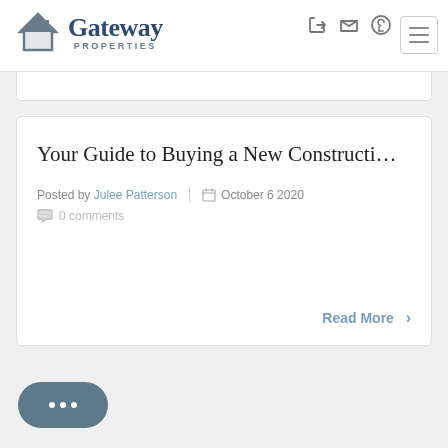[Figure (logo): Gateway Properties logo with house roof silhouette icon and text]
Your Guide to Buying a New Constructi…
Posted by Julee Patterson   October 6 2020
0 comments
Read More >